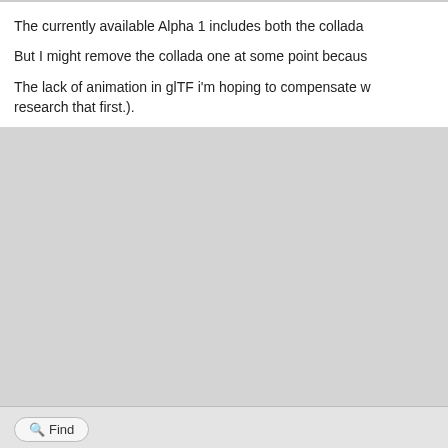The currently available Alpha 1 includes both the collada
But I might remove the collada one at some point becaus
The lack of animation in glTF i'm hoping to compensate w research that first.).
Find
Cam's Bricks
Seasoned LDrawer
RE: Working on a Blender (collada) export, need some help
2022-04-14, 0:24
Roland Melkert Wrote:
The currently available Alpha 1 includes both the coll